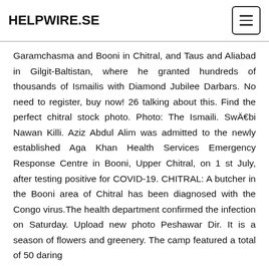HELPWIRE.SE
Garamchasma and Booni in Chitral, and Taus and Aliabad in Gilgit-Baltistan, where he granted hundreds of thousands of Ismailis with Diamond Jubilee Darbars. No need to register, buy now! 26 talking about this. Find the perfect chitral stock photo. Photo: The Ismaili. SwÄbi Nawan Killi. Aziz Abdul Alim was admitted to the newly established Aga Khan Health Services Emergency Response Centre in Booni, Upper Chitral, on 1 st July, after testing positive for COVID-19. CHITRAL: A butcher in the Booni area of Chitral has been diagnosed with the Congo virus.The health department confirmed the infection on Saturday. Upload new photo Peshawar Dir. It is a season of flowers and greenery. The camp featured a total of 50 daring